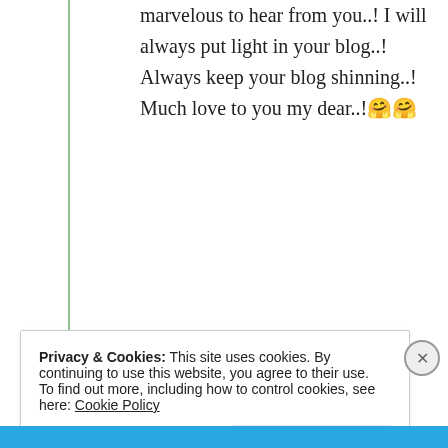marvelous to hear from you..! I will always put light in your blog..! Always keep your blog shinning..! Much love to you my dear..!🤗🤗
★ Liked by 1 person
Advertisements
[Figure (logo): Pressable logo with P icon and dots]
Privacy & Cookies: This site uses cookies. By continuing to use this website, you agree to their use. To find out more, including how to control cookies, see here: Cookie Policy
Close and accept